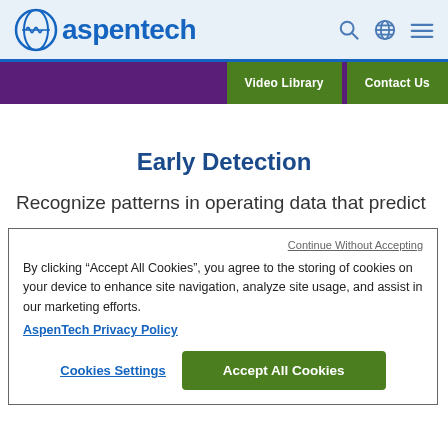[Figure (logo): AspenTech logo with circular waveform icon and blue text 'aspentech', with search, globe, and hamburger menu icons on the right]
[Figure (screenshot): Navigation bar with purple background and two green buttons: 'Video Library' and 'Contact Us']
Early Detection
Recognize patterns in operating data that predict
Continue Without Accepting
By clicking “Accept All Cookies”, you agree to the storing of cookies on your device to enhance site navigation, analyze site usage, and assist in our marketing efforts.
AspenTech Privacy Policy
Cookies Settings
Accept All Cookies